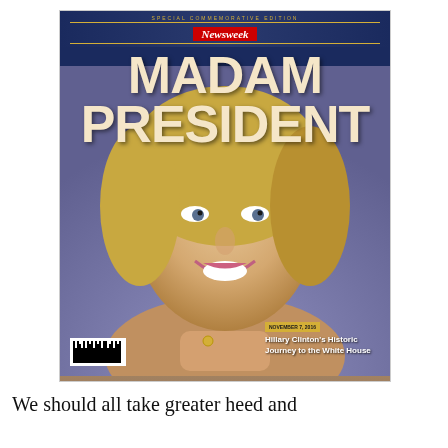[Figure (photo): A photograph of a Newsweek Special Commemorative Edition magazine being held up. The magazine cover features the headline 'MADAM PRESIDENT' in large cream/gold letters on a dark navy background, with a photo of Hillary Clinton smiling. The cover includes the Newsweek logo in red, a date badge reading 'NOVEMBER 7, 2016', text reading 'Hillary Clinton's Historic Journey to the White House', and a barcode in the bottom left.]
We should all take greater heed and